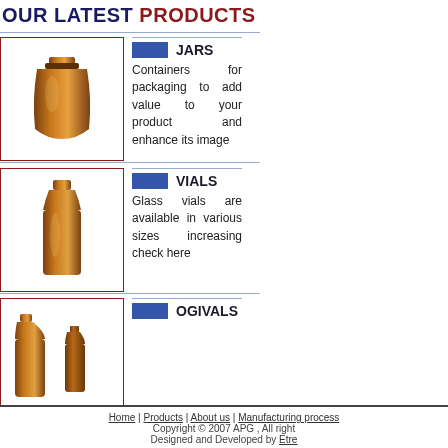OUR LATEST PRODUCTS
[Figure (photo): Amber glass jar product photo]
JARS
Containers for packaging to add value to your product and enhance its image
[Figure (photo): Amber glass vial product photo]
VIALS
Glass vials are available in various sizes increasing check here
[Figure (photo): Two amber glass ogivals product photo]
OGIVALS
[Figure (photo): Amber glass drops bottle product photo]
DROPS
DROPS
Home | Products | About us | Manufacturing process
Copyright © 2007 APG , All right
Designed and Developed by Etre